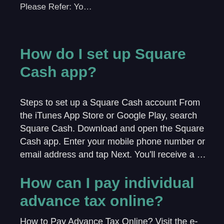Please Refer: Yo…
How do I set up Square Cash app?
Steps to set up a Square Cash account From the iTunes App Store or Google Play, search Square Cash. Download and open the Square Cash app. Enter your mobile phone number or email address and tap Next. You'll receive a …
How can I pay individual advance tax online?
How to Pay Advance Tax Online? Visit the e-